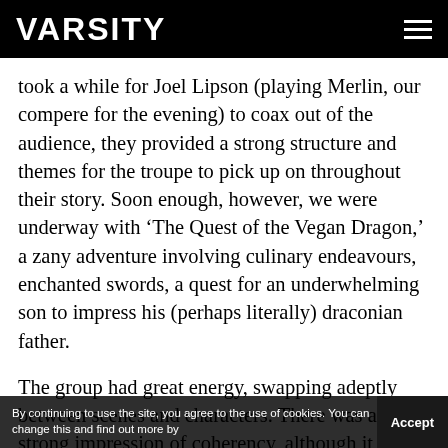VARSITY
took a while for Joel Lipson (playing Merlin, our compere for the evening) to coax out of the audience, they provided a strong structure and themes for the troupe to pick up on throughout their story. Soon enough, however, we were underway with ‘The Quest of the Vegan Dragon,’ a zany adventure involving culinary endeavours, enchanted swords, a quest for an underwhelming son to impress his (perhaps literally) draconian father.
The group had great energy, swapping adeptly between scenes and characters. There was a strong impression of coherency, although it was certainly a shame to see some members of the cast not fully take advantage of opportunities to work themselves into the...
By continuing to use the site, you agree to the use of cookies. You can change this and find out more by